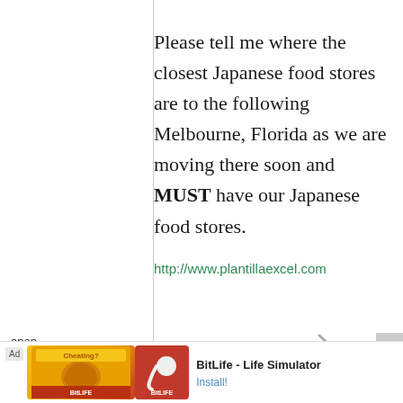Please tell me where the closest Japanese food stores are to the following Melbourne, Florida as we are moving there soon and MUST have our Japanese food stores.

http://www.plantillaexcel.com
anon.
28
Ohio
[Figure (screenshot): Advertisement banner at bottom: Ad label, colorful image with muscle graphic and BitLife sperm logo, text 'BitLife - Life Simulator' with Install! button]